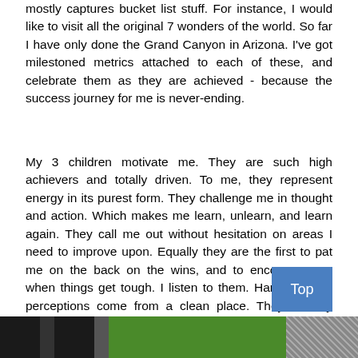mostly captures bucket list stuff. For instance, I would like to visit all the original 7 wonders of the world. So far I have only done the Grand Canyon in Arizona. I've got milestoned metrics attached to each of these, and celebrate them as they are achieved - because the success journey for me is never-ending.
My 3 children motivate me. They are such high achievers and totally driven. To me, they represent energy in its purest form. They challenge me in thought and action. Which makes me learn, unlearn, and learn again. They call me out without hesitation on areas I need to improve upon. Equally they are the first to pat me on the back on the wins, and to encourage me when things get tough. I listen to them. Hard. As their perceptions come from a clean place. They are my most ardent supporters, and my harshest critics as well.
[Figure (photo): Bottom strip image showing dark panels and green/stone background]